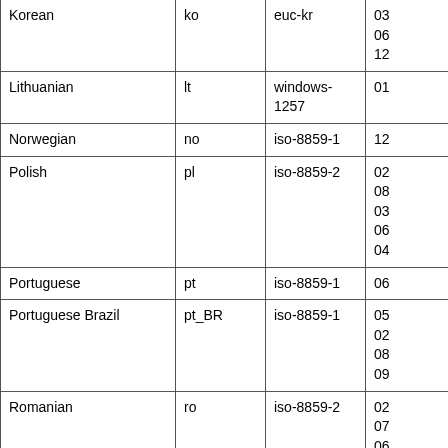| Language | Code | Encoding | ... |
| --- | --- | --- | --- |
| Korean | ko | euc-kr | 03
06
12 |
| Lithuanian | lt | windows-1257 | 01 |
| Norwegian | no | iso-8859-1 | 12 |
| Polish | pl | iso-8859-2 | 02
08
03
06
04 |
| Portuguese | pt | iso-8859-1 | 06 |
| Portuguese Brazil | pt_BR | iso-8859-1 | 05
02
08
09 |
| Romanian | ro | iso-8859-2 | 02
07
06 |
| Romanian -Unicode | ro.utf8 | utf-8 | 02 |
| Russian | ru | koi8-r | 08 |